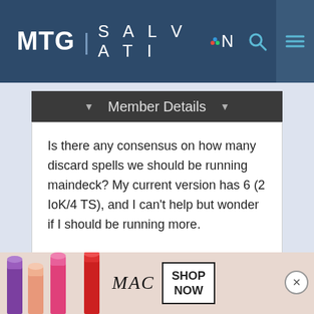MTG SALVATION
Member Details
Is there any consensus on how many discard spells we should be running maindeck? My current version has 6 (2 IoK/4 TS), and I can't help but wonder if I should be running more.
[Figure (photo): Advertisement banner for MAC cosmetics featuring lipsticks and SHOP NOW call to action]